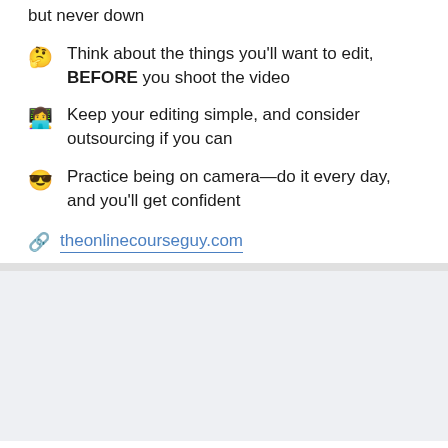but never down
Think about the things you'll want to edit, BEFORE you shoot the video
Keep your editing simple, and consider outsourcing if you can
Practice being on camera—do it every day, and you'll get confident
theonlinecourseguy.com